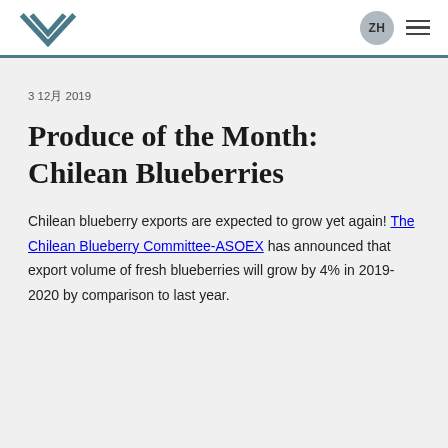ZH ≡
3 12月 2019
Produce of the Month: Chilean Blueberries
Chilean blueberry exports are expected to grow yet again! The Chilean Blueberry Committee-ASOEX has announced that export volume of fresh blueberries will grow by 4% in 2019-2020 by comparison to last year.